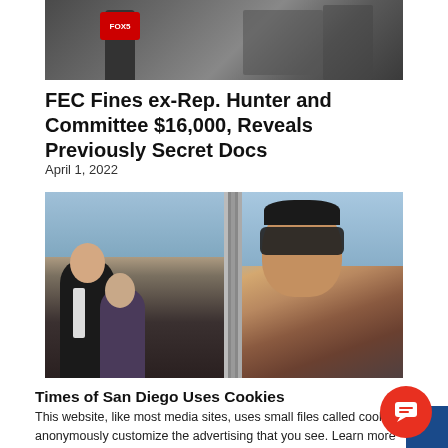[Figure (photo): A person holding a FOX5 microphone, partial view shot outdoors or at an event.]
FEC Fines ex-Rep. Hunter and Committee $16,000, Reveals Previously Secret Docs
April 1, 2022
[Figure (photo): Left side: Two people (a man in a suit and a woman) posing together. Right side: A man wearing sunglasses taking a selfie outdoors with a city view behind him.]
Times of San Diego Uses Cookies
This website, like most media sites, uses small files called cookies to anonymously customize the advertising that you see. Learn more about how we use cookies in our cookie policy.